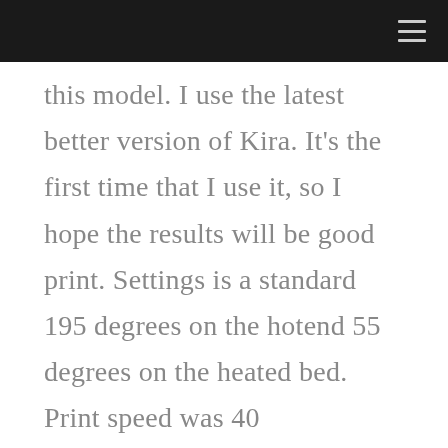this model. I use the latest better version of Kira. It’s the first time that I use it, so I hope the results will be good print. Settings is a standard 195 degrees on the hotend 55 degrees on the heated bed. Print speed was 40 millimeters. The second travel 100 and retraction speed was 60 and the beauty is born. She is gorgeous! Seer tennis did a very good job. She is a perfect well, almost perfect after close inspection of the model. I found one small imperfection in thi…